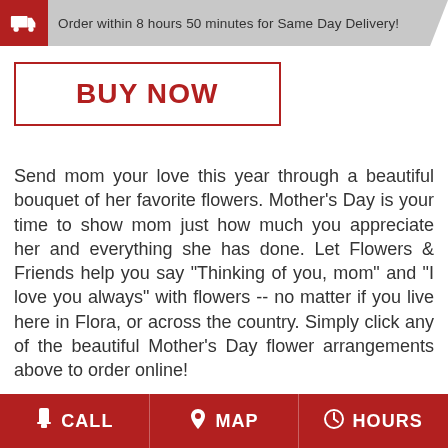Order within 8 hours 50 minutes for Same Day Delivery!
BUY NOW
Send mom your love this year through a beautiful bouquet of her favorite flowers. Mother's Day is your time to show mom just how much you appreciate her and everything she has done. Let Flowers & Friends help you say "Thinking of you, mom" and "I love you always" with flowers -- no matter if you live here in Flora, or across the country. Simply click any of the beautiful Mother's Day flower arrangements above to order online!
FLOWER DELIVERY TO FLORA, IN
CALL  MAP  HOURS